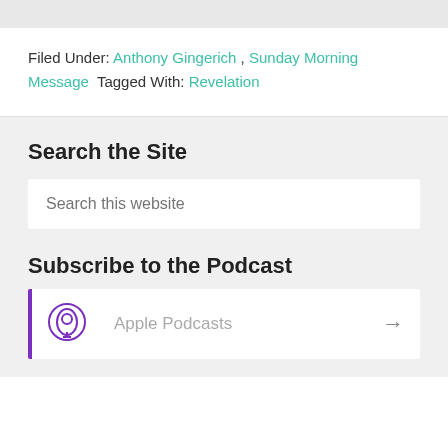Filed Under: Anthony Gingerich , Sunday Morning Message  Tagged With: Revelation
Search the Site
Search this website
Subscribe to the Podcast
Apple Podcasts →